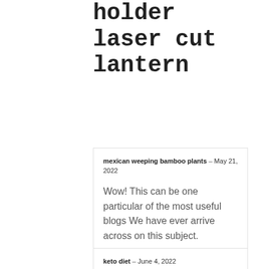holder laser cut lantern
mexican weeping bamboo plants – May 21, 2022
Wow! This can be one particular of the most useful blogs We have ever arrive across on this subject.
keto diet – June 4, 2022